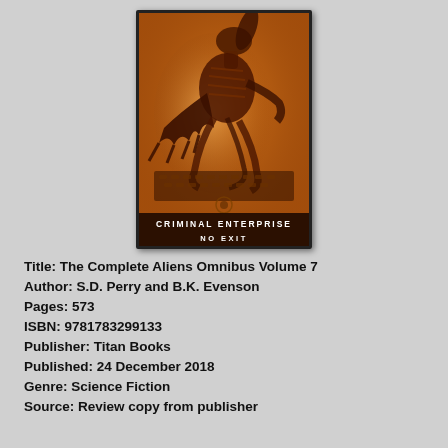[Figure (illustration): Book cover of 'The Complete Aliens Omnibus Volume 7' showing an orange-toned alien creature with claws and skeletal features crouching over a surface. Title text reads 'CRIMINAL ENTERPRISE' and 'NO EXIT' in white letters on a dark bar at the bottom of the cover.]
Title: The Complete Aliens Omnibus Volume 7
Author: S.D. Perry and B.K. Evenson
Pages: 573
ISBN: 9781783299133
Publisher: Titan Books
Published: 24 December 2018
Genre: Science Fiction
Source: Review copy from publisher